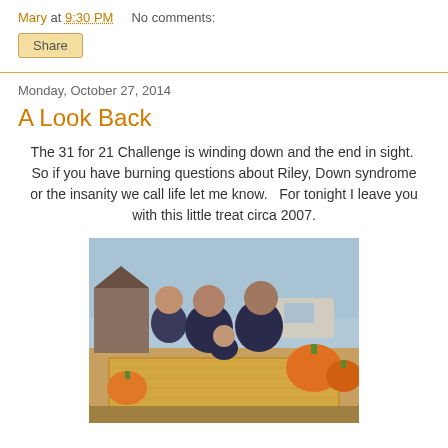Mary at 9:30 PM    No comments:
Share
Monday, October 27, 2014
A Look Back
The 31 for 21 Challenge is winding down and the end in sight.  So if you have burning questions about Riley, Down syndrome or the insanity we call life let me know.   For tonight I leave you with this little treat circa 2007.
[Figure (photo): Family photo circa 2007 at a pumpkin patch: man, woman, young child, and baby sitting on hay bales surrounded by pumpkins, all wearing dark/navy clothing, outdoors with blue sky and farm building in background.]